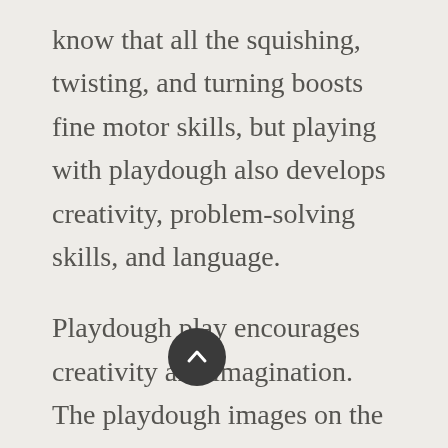know that all the squishing, twisting, and turning boosts fine motor skills, but playing with playdough also develops creativity, problem-solving skills, and language.
Playdough play encourages creativity and imagination. The playdough images on the pumpkin cycle playdough mats are black and white. This causes the student to imagine what colors of playdough to use.
Students can also use playdough to add details to the mats such as other crops and...